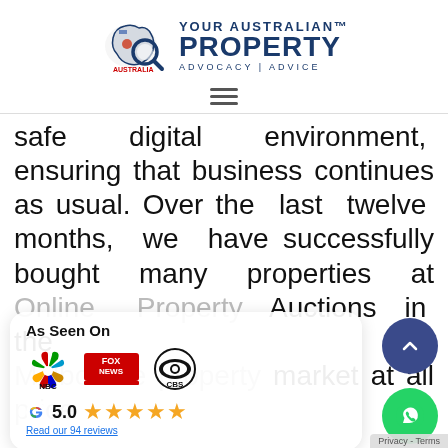[Figure (logo): Your Australian Property logo - map of Australia with magnifying glass icon, text 'YOUR AUSTRALIAN PROPERTY ADVOCACY | ADVICE']
[Figure (other): Hamburger menu icon (three horizontal lines)]
safe digital environment, ensuring that business continues as usual. Over the last twelve months, we have successfully bought many properties at Online Property Auctions in the Melbourne property market at all price
[Figure (infographic): As Seen On popup overlay with NBC, Fox News, CBS logos, Google icon, 5.0 star rating with 5 gold stars, 'Read our 94 reviews' link]
Your Australian Property's Online Property Auction Bidding Service works exactly the same way as our Auction Bidding Service - biggest difference Your Australian Property